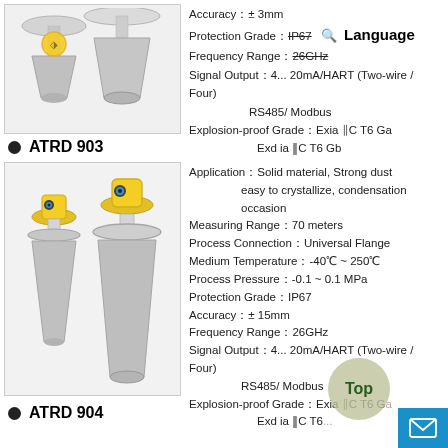[Figure (photo): Two radar level sensor devices (previous product, top section) shown side by side on a gray background]
Accuracy：± 3mm
Protection Grade：IP67
Frequency Range：26GHz
Signal Output：4... 20mA/HART (Two-wire / Four)
    RS485/ Modbus
Explosion-proof Grade：Exia II C T6 Ga
    Exd ia II C T6 Gb
ATRD 903
[Figure (photo): Two yellow-topped radar level sensor devices (ATRD 903) with conical metal bases, shown side by side]
Application：Solid material, Strong dust easy to crystallize, condensation occasion
Measuring Range：70 meters
Process Connection：Universal Flange
Medium Temperature：-40℃ ~ 250℃
Process Pressure：-0.1 ~ 0.1 MPa
Protection Grade：IP67
Accuracy：± 15mm
Frequency Range：26GHz
Signal Output：4... 20mA/HART (Two-wire / Four) RS485/ Modbus
Explosion-proof Grade：Exia II C T6 G...
    Exd ia II C T6...
ATRD 904